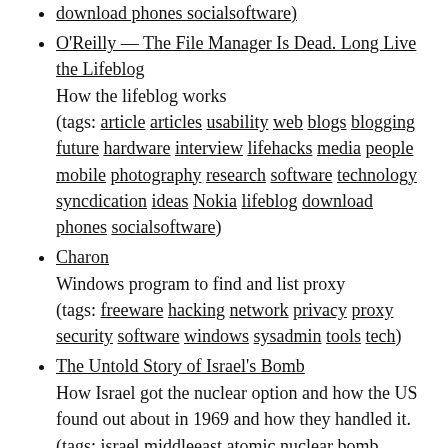download phones socialsoftware) [partial top item, cut off]
O’Reilly — The File Manager Is Dead. Long Live the Lifeblog
How the lifeblog works
(tags: article articles usability web blogs blogging future hardware interview lifehacks media people mobile photography research software technology syncdication ideas Nokia lifeblog download phones socialsoftware)
Charon
Windows program to find and list proxy
(tags: freeware hacking network privacy proxy security software windows sysadmin tools tech)
The Untold Story of Israel’s Bomb
How Israel got the nuclear option and how the US found out about in 1969 and how they handled it.
(tags: israel middleeast atomic nuclear bomb politics usa america history academic)
thebulletin.org